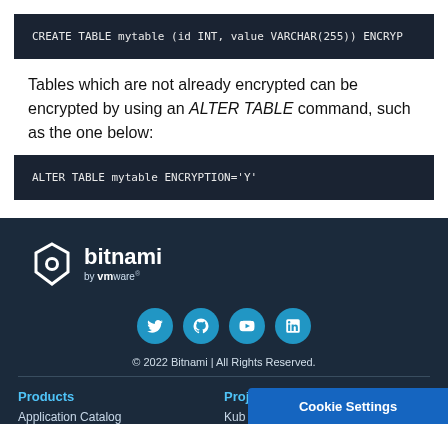CREATE TABLE mytable (id INT, value VARCHAR(255)) ENCRY
Tables which are not already encrypted can be encrypted by using an ALTER TABLE command, such as the one below:
ALTER TABLE mytable ENCRYPTION='Y'
[Figure (logo): Bitnami by VMware logo in white on dark background]
[Figure (infographic): Social media icons: Twitter, GitHub, YouTube, LinkedIn]
© 2022 Bitnami | All Rights Reserved.
Products
Application Catalog
Projects
Kub
Cookie Settings